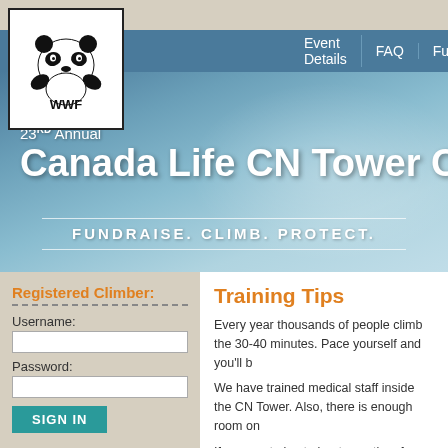[Figure (logo): WWF logo — panda bear icon above text 'WWF' in a white bordered box]
Event Details | FAQ | Fundraising
23RD Annual Canada Life CN Tower Climb
FUNDRAISE. CLIMB. PROTECT.
Registered Climber:
Username:
[input field]
Password:
[input field]
SIGN IN
Training Tips
Every year thousands of people climb the 30-40 minutes. Pace yourself and you'll b
We have trained medical staff inside the CN Tower. Also, there is enough room on
If you are trying to beat your time from la